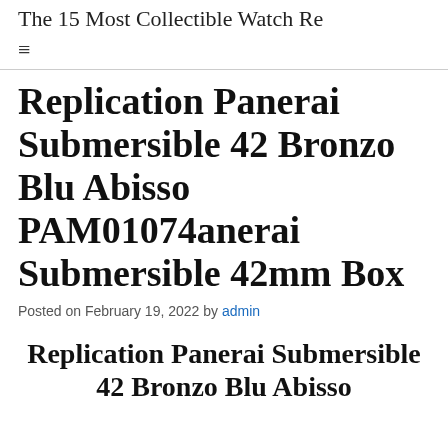The 15 Most Collectible Watch Re…
Replication Panerai Submersible 42 Bronzo Blu Abisso PAM01074anerai Submersible 42mm Box
Posted on February 19, 2022 by admin
Replication Panerai Submersible 42 Bronzo Blu Abisso